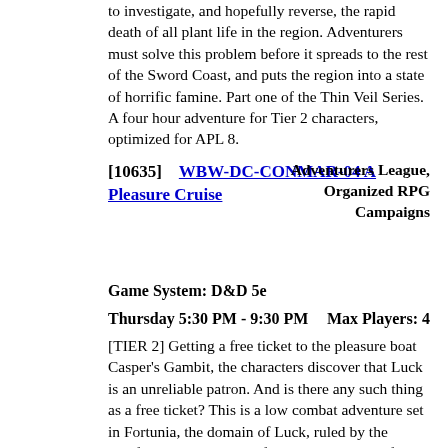to investigate, and hopefully reverse, the rapid death of all plant life in the region. Adventurers must solve this problem before it spreads to the rest of the Sword Coast, and puts the region into a state of horrific famine. Part one of the Thin Veil Series. A four hour adventure for Tier 2 characters, optimized for APL 8.
[10635]    WBW-DC-CONMAR-04 A Pleasure Cruise    Adventurers League, Organized RPG Campaigns
Game System: D&D 5e
Thursday 5:30 PM - 9:30 PM    Max Players: 4
[TIER 2] Getting a free ticket to the pleasure boat Casper's Gambit, the characters discover that Luck is an unreliable patron. And is there any such thing as a free ticket? This is a low combat adventure set in Fortunia, the domain of Luck, ruled by the archfey Miss Fortune. A four hour adventure for Tier 2 characters, optimized for APL 7.
[10488]    War Chest    Play & Win, Board Games